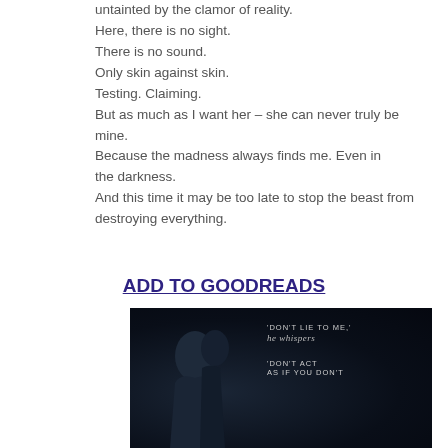untainted by the clamor of reality.
Here, there is no sight.
There is no sound.
Only skin against skin.
Testing. Claiming.
But as much as I want her – she can never truly be mine.
Because the madness always finds me. Even in
the darkness.
And this time it may be too late to stop the beast from destroying everything.
ADD TO GOODREADS
[Figure (photo): Dark romantic book teaser image with a silhouette of two people close together in darkness, with overlaid text: 'DON'T LIE TO ME,' he whispers / 'DON'T ACT AS IF YOU DON'T']